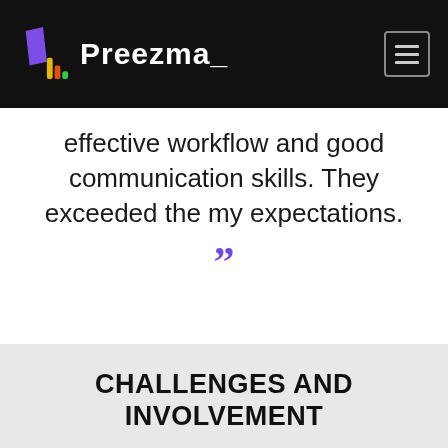Preezma_
effective workflow and good communication skills. They exceeded the my expectations. ””
CHALLENGES AND INVOLVEMENT
The most challenging part of the project was